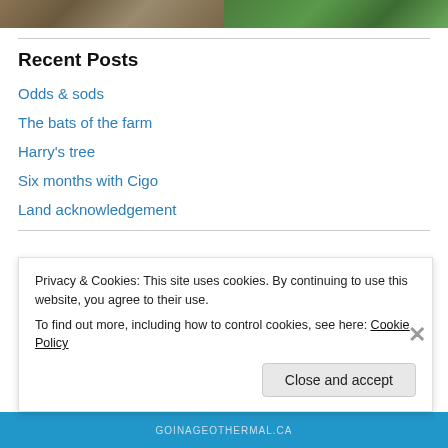[Figure (photo): Two cropped photos at top: left showing dirt/soil ground, right showing green grass]
Recent Posts
Odds & sods
The bats of the farm
Harry's tree
Six months with Cigo
Land acknowledgement
[Figure (logo): Goina Geothermal colorful logo text]
Privacy & Cookies: This site uses cookies. By continuing to use this website, you agree to their use.
To find out more, including how to control cookies, see here: Cookie Policy